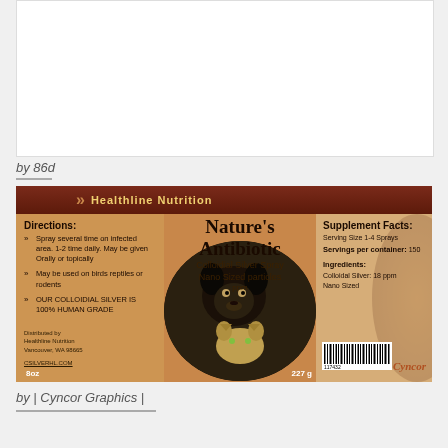[Figure (illustration): White blank/empty box area at top of page]
by 86d
[Figure (illustration): Product label for Healthline Nutrition Nature's Antibiotic Colloidal Silver Spray Nano Sized particles. Shows a dog and cat on the label. Left panel has directions, center has product name, right has supplement facts. Orange/brown color scheme.]
by | Cyncor Graphics |